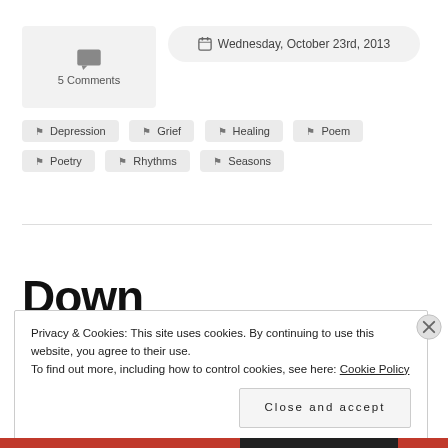5 Comments
Wednesday, October 23rd, 2013
Depression  Grief  Healing  Poem  Poetry  Rhythms  Seasons
Down
Privacy & Cookies: This site uses cookies. By continuing to use this website, you agree to their use.
To find out more, including how to control cookies, see here: Cookie Policy
Close and accept